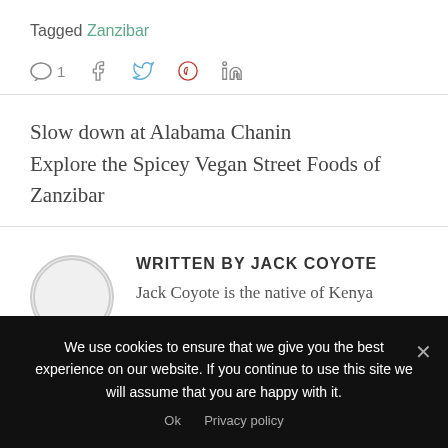Tagged Zanzibar
1 [social icons: facebook, twitter, pinterest, linkedin]
Slow down at Alabama Chanin
Explore the Spicey Vegan Street Foods of Zanzibar
WRITTEN BY JACK COYOTE
Jack Coyote is the native of Kenya
We use cookies to ensure that we give you the best experience on our website. If you continue to use this site we will assume that you are happy with it.
Ok   Privacy policy